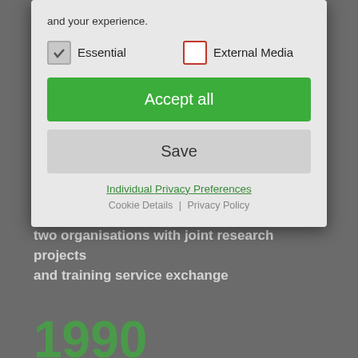and your experience.
The foundation of the association for the promotion of the SKZ – German Plastics Center in Munich, Germany
2000
[Figure (screenshot): Cookie consent modal overlay with Essential (checked) and External Media (unchecked) checkboxes, Accept all green button, Save grey button, Individual Privacy Preferences link, Cookie Details | Privacy Policy links]
First joint research collaboration between the two organisations with joint research projects and training service exchange
1990